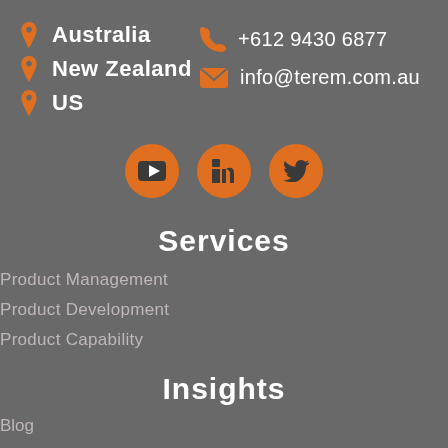Australia
New Zealand
US
+612 9430 6877
info@terem.com.au
[Figure (infographic): Three orange circular social media buttons: YouTube, LinkedIn, Twitter]
Services
Product Management
Product Development
Product Capability
Insights
Blog